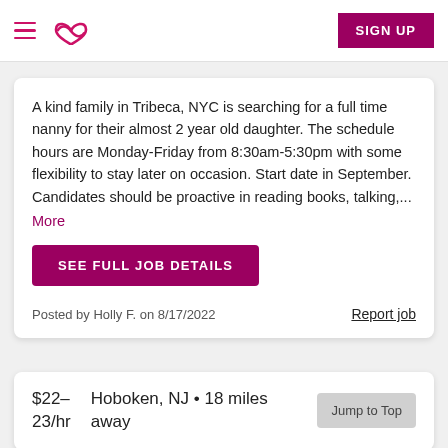Sittercity — Navigation and Sign Up
A kind family in Tribeca, NYC is searching for a full time nanny for their almost 2 year old daughter. The schedule hours are Monday-Friday from 8:30am-5:30pm with some flexibility to stay later on occasion. Start date in September. Candidates should be proactive in reading books, talking,... More
SEE FULL JOB DETAILS
Posted by Holly F. on 8/17/2022    Report job
$22–23/hr    Hoboken, NJ • 18 miles away    Jump to Top